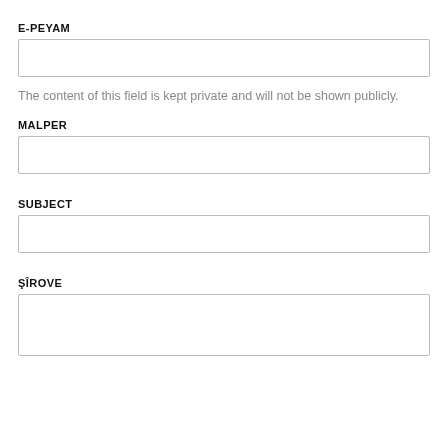E-PEYAM
The content of this field is kept private and will not be shown publicly.
MALPER
SUBJECT
ŞÎROVE